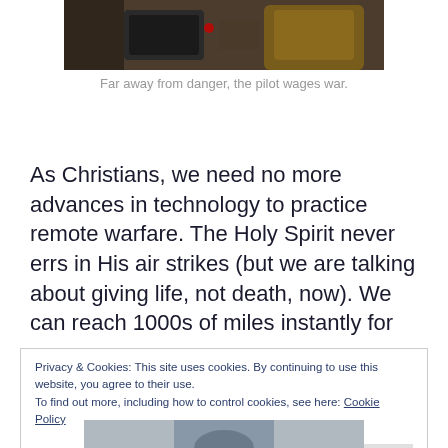[Figure (photo): Partial view of a person at a control station with equipment, brown leather seat visible, bokeh background]
Far away from danger, the pilot wages war.
As Christians, we need no more advances in technology to practice remote warfare. The Holy Spirit never errs in His air strikes (but we are talking about giving life, not death, now). We can reach 1000s of miles instantly for
Privacy & Cookies: This site uses cookies. By continuing to use this website, you agree to their use.
To find out more, including how to control cookies, see here: Cookie Policy
Close and accept
[Figure (photo): Partial bottom photo, partially visible]